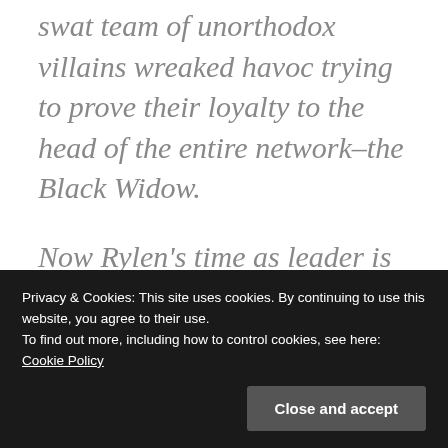swat team of unorthodox villains wreaked havoc trying to prove their loyalty to the head of the entire network–the Black Widow.
Now Rylen's time as leader is running out, and he's about to face his biggest battle yet. Magic users around the area are slowly
Privacy & Cookies: This site uses cookies. By continuing to use this website, you agree to their use. To find out more, including how to control cookies, see here: Cookie Policy
to restore them to their "proper"